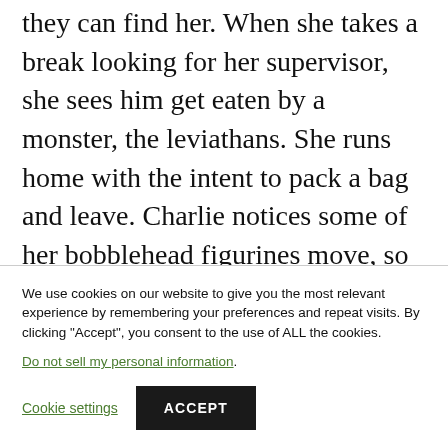they can find her. When she takes a break looking for her supervisor, she sees him get eaten by a monster, the leviathans. She runs home with the intent to pack a bag and leave. Charlie notices some of her bobblehead figurines move, so she moves quickly to the door knowing that someone is inside her apartment. Dean closes the door before she can leave. Charlie thinks they are shape shifters and hits S... with a col... and Charlie B... d...
We use cookies on our website to give you the most relevant experience by remembering your preferences and repeat visits. By clicking "Accept", you consent to the use of ALL the cookies. Do not sell my personal information.